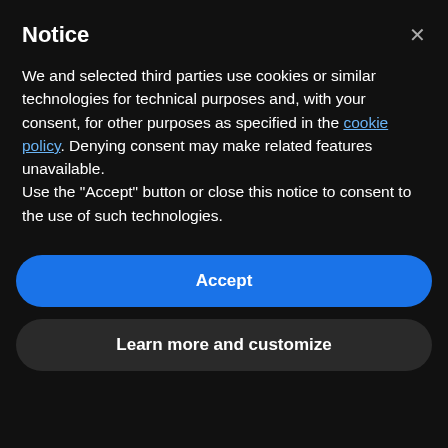Notice
We and selected third parties use cookies or similar technologies for technical purposes and, with your consent, for other purposes as specified in the cookie policy. Denying consent may make related features unavailable.
Use the "Accept" button or close this notice to consent to the use of such technologies.
[Figure (screenshot): Blue rounded Accept button]
[Figure (screenshot): Dark rounded Learn more and customize button]
Make sure this fits by entering your model number.
Camera
Buy Now
Categories: Mobile Phones, Xiaomi